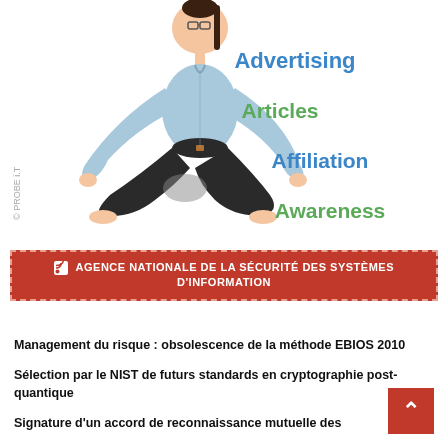[Figure (illustration): Cartoon illustration of a woman sitting in a yoga/meditation pose with text labels: Advertising (blue), Articles (green), Affiliation (blue), Awareness (green). A watermark '© PROBE i.T' appears on the left side.]
AGENCE NATIONALE DE LA SÉCURITÉ DES SYSTÈMES D'INFORMATION
Management du risque : obsolescence de la méthode EBIOS 2010
Sélection par le NIST de futurs standards en cryptographie post-quantique
Signature d'un accord de reconnaissance mutuelle des